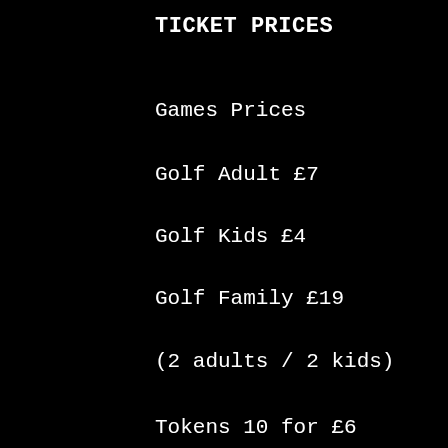TICKET PRICES
Games Prices
Golf Adult £7
Golf Kids £4
Golf Family £19
(2 adults / 2 kids)
Tokens 10 for £6
Park Game hire £5
Package Sessions